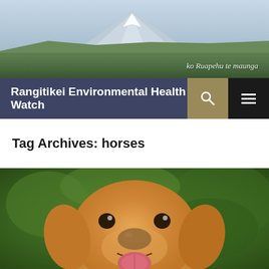[Figure (photo): Landscape photo showing a mountain (likely Mount Ruapehu) in the background with fields and greenery in the foreground under a hazy sky. Script text reads 'ko Ruapehu te maunga' in the lower right.]
Rangitikei Environmental Health Watch
Tag Archives: horses
[Figure (photo): Close-up photo of a golden Labrador dog facing the camera with mouth open and tongue out, against a blurred green background.]